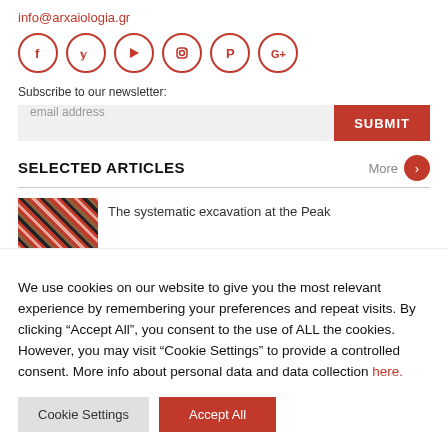info@arxaiologia.gr
[Figure (infographic): Six social media icons in red circles: Facebook (f), Twitter (bird/y), YouTube (play triangle), Instagram (camera), Pinterest (P), Google+ (G+)]
Subscribe to our newsletter:
[Figure (screenshot): Email address input field with placeholder 'email address' and red SUBMIT button]
SELECTED ARTICLES
[Figure (photo): Thumbnail image with mosaic/texture pattern in red and dark tones]
The systematic excavation at the Peak
We use cookies on our website to give you the most relevant experience by remembering your preferences and repeat visits. By clicking “Accept All”, you consent to the use of ALL the cookies. However, you may visit "Cookie Settings" to provide a controlled consent. More info about personal data and data collection here.
Cookie Settings
Accept All